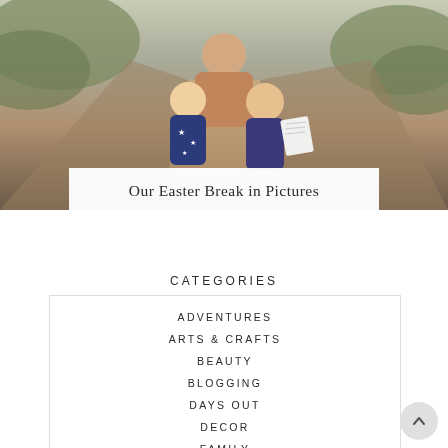[Figure (photo): Photo of children on a dirt path outdoors, with greenery in background. Three children posing, two younger ones in blue jackets, older child holding a paper sheet.]
Our Easter Break in Pictures
CATEGORIES
ADVENTURES
ARTS & CRAFTS
BEAUTY
BLOGGING
DAYS OUT
DECOR
FAMILY